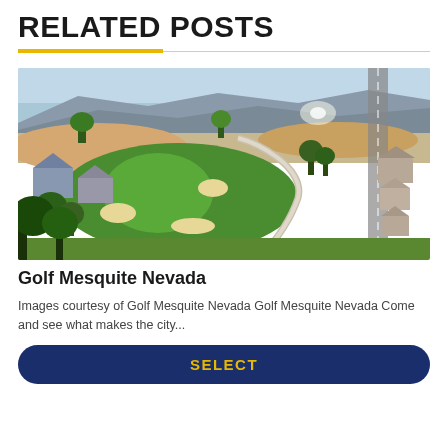RELATED POSTS
[Figure (photo): Aerial view of Golf Mesquite Nevada golf course with green fairways, sand traps, a winding cart path, desert landscape, residential homes, and mesas in the background.]
Golf Mesquite Nevada
Images courtesy of Golf Mesquite Nevada Golf Mesquite Nevada Come and see what makes the city...
SELECT